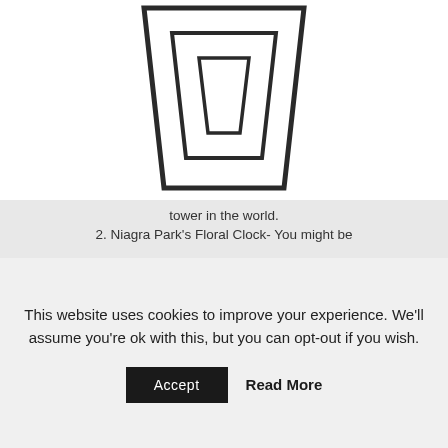[Figure (logo): Bitbucket-style logo: three nested trapezoid/bucket shapes in black outline, centered at top of page]
tower in the world.
2. Niagra Park's Floral Clock- You might be
This website uses cookies to improve your experience. We'll assume you're ok with this, but you can opt-out if you wish.
Accept  Read More